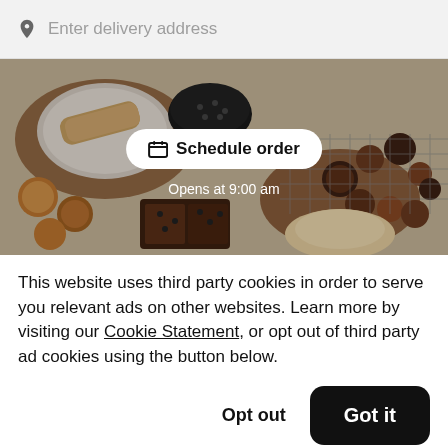Enter delivery address
[Figure (photo): Overhead view of assorted cookies, pastries, and baked goods on a table with a 'Schedule order' button overlay and 'Opens at 9:00 am' text]
This website uses third party cookies in order to serve you relevant ads on other websites. Learn more by visiting our Cookie Statement, or opt out of third party ad cookies using the button below.
Opt out
Got it